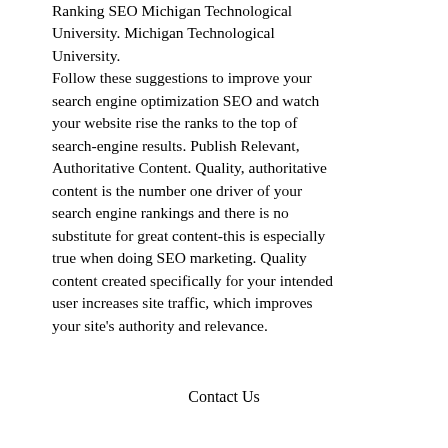Ranking SEO Michigan Technological University. Michigan Technological University. Follow these suggestions to improve your search engine optimization SEO and watch your website rise the ranks to the top of search-engine results. Publish Relevant, Authoritative Content. Quality, authoritative content is the number one driver of your search engine rankings and there is no substitute for great content-this is especially true when doing SEO marketing. Quality content created specifically for your intended user increases site traffic, which improves your site's authority and relevance.
Contact Us